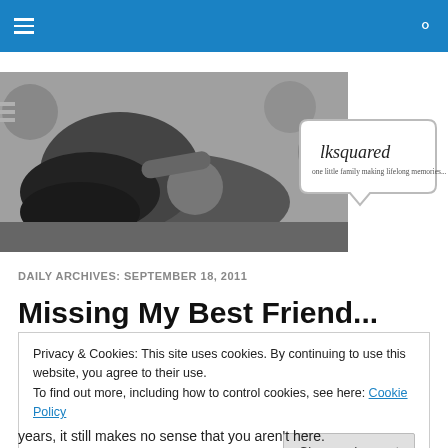[navigation bar with hamburger menu and search icon]
[Figure (photo): Black and white photo of a woman lying with a baby, with stuffed animals in background]
[Figure (logo): lksquared logo bubble: 'lksquared — one little family making lifelong memories...']
DAILY ARCHIVES: SEPTEMBER 18, 2011
Missing My Best Friend...
Privacy & Cookies: This site uses cookies. By continuing to use this website, you agree to their use.
To find out more, including how to control cookies, see here: Cookie Policy
[Close and accept button]
years, it still makes no sense that you aren't here.